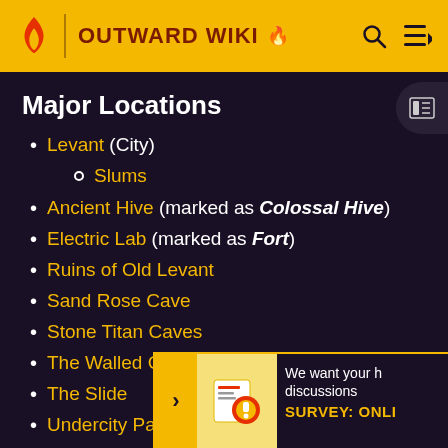OUTWARD WIKI
Major Locations
Levant (City)
Slums
Ancient Hive (marked as Colossal Hive)
Electric Lab (marked as Fort)
Ruins of Old Levant
Sand Rose Cave
Stone Titan Caves
The Walled Garden
The Slide
Undercity Passage
Minor Locations
Minor locations are part of Abrass...